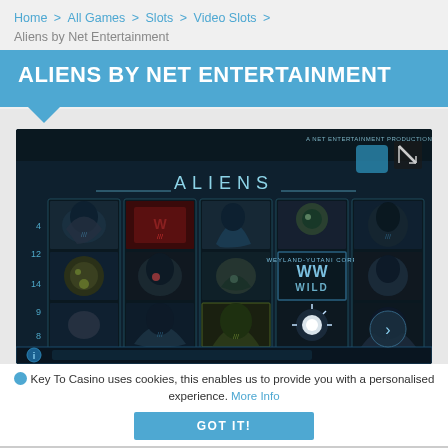Home > All Games > Slots > Video Slots > Aliens by Net Entertainment
ALIENS BY NET ENTERTAINMENT
[Figure (screenshot): Screenshot of the Aliens slot game by Net Entertainment showing the game reels with alien-themed symbols including alien creatures, WEYLAND-YUTANI WILD symbols, and other game elements on a dark sci-fi themed interface]
Key To Casino uses cookies, this enables us to provide you with a personalised experience. More Info
GOT IT!